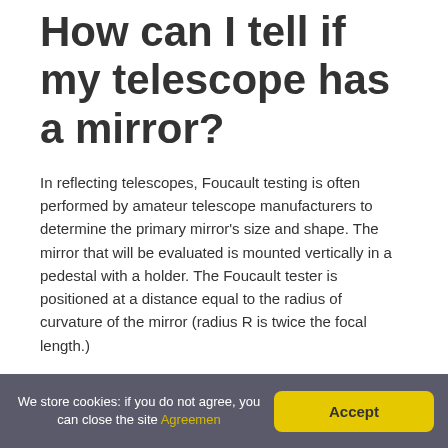How can I tell if my telescope has a mirror?
In reflecting telescopes, Foucault testing is often performed by amateur telescope manufacturers to determine the primary mirror's size and shape. The mirror that will be evaluated is mounted vertically in a pedestal with a holder. The Foucault tester is positioned at a distance equal to the radius of curvature of the mirror (radius R is twice the focal length.)
Why are my stars not
We store cookies: if you do not agree, you can close the site Agreemen